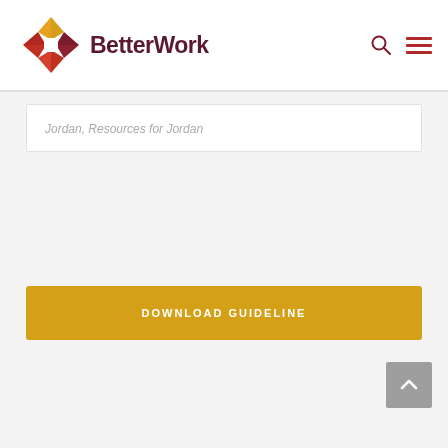[Figure (logo): BetterWork logo with geometric pinwheel icon and bold dark red BetterWork wordmark]
Jordan, Resources for Jordan
DOWNLOAD GUIDELINE